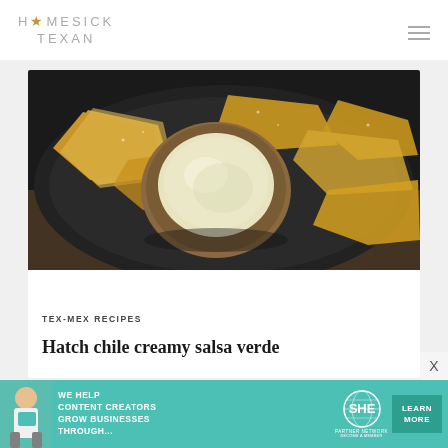HOMESICK TEXAN
[Figure (photo): A dark ceramic plate with tortilla chips around a small bowl of creamy green salsa verde (hatch chile dip), shot from above at an angle on a wooden surface.]
TEX-MEX RECIPES
Hatch chile creamy salsa verde
[Figure (infographic): Advertisement banner for SHE Media Partner Network: 'WE HELP CONTENT CREATORS GROW BUSINESSES THROUGH...' with a LEARN MORE button.]